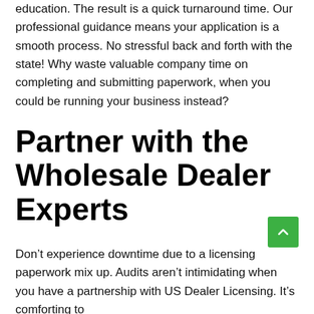education. The result is a quick turnaround time. Our professional guidance means your application is a smooth process. No stressful back and forth with the state! Why waste valuable company time on completing and submitting paperwork, when you could be running your business instead?
Partner with the Wholesale Dealer Experts
Don't experience downtime due to a licensing paperwork mix up. Audits aren't intimidating when you have a partnership with US Dealer Licensing. It's comforting to know you're not alone with your auto dealer license...